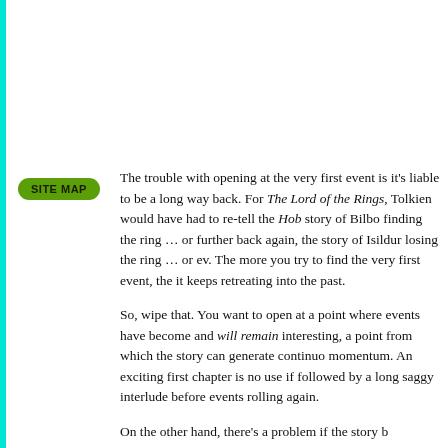[Figure (other): Green 'SITE MAP' pill-shaped button label]
The trouble with opening at the very first event is it's liable to be a long way back. For The Lord of the Rings, Tolkien would have had to re-tell the Hobbit story of Bilbo finding the ring … or further back again, the story of Isildur losing the ring … or ev. The more you try to find the very first event, the it keeps retreating into the past.
So, wipe that. You want to open at a point where events have become and will remain interesting, a point from which the story can generate continuous momentum. An exciting first chapter is no use if followed by a long saggy interlude before events rolling again.
On the other hand, there's a problem if the story b